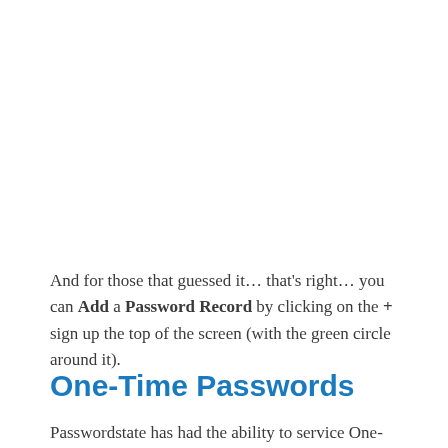And for those that guessed it… that's right… you can Add a Password Record by clicking on the + sign up the top of the screen (with the green circle around it).
One-Time Passwords
Passwordstate has had the ability to service One-